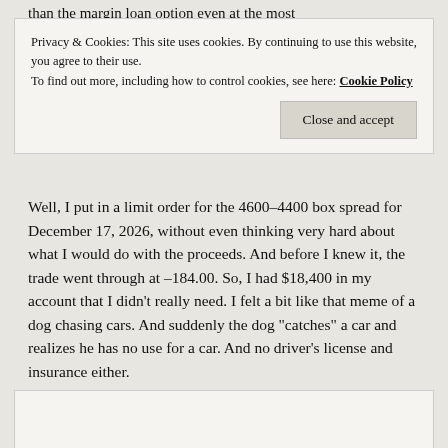than the margin loan option even at the most
Privacy & Cookies: This site uses cookies. By continuing to use this website, you agree to their use. To find out more, including how to control cookies, see here: Cookie Policy
Close and accept
Well, I put in a limit order for the 4600-4400 box spread for December 17, 2026, without even thinking very hard about what I would do with the proceeds. And before I knew it, the trade went through at -184.00. So, I had $18,400 in my account that I didn't really need. I felt a bit like that meme of a dog chasing cars. And suddenly the dog “catches” a car and realizes he has no use for a car. And no driver’s license and insurance either.